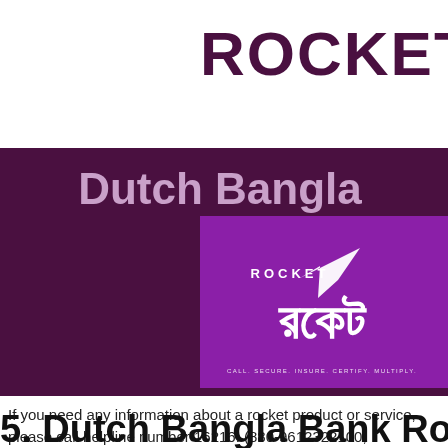ROCKET
[Figure (logo): Dutch Bangla Bank Rocket mobile banking banner. Dark purple background with text 'Dutch Bangla' in light purple. A bright purple box contains the Rocket logo with a paper plane icon, the word 'ROCKET' in white, Bengali script logo text in white, and a small tagline below.]
If you need any information about a rocket product or service, please call helpline number 16216. (880-9612322100,(880)-9666322100. (Callout 24 hours, 365 ...
5. Dutch Bangla Bank Rocket...